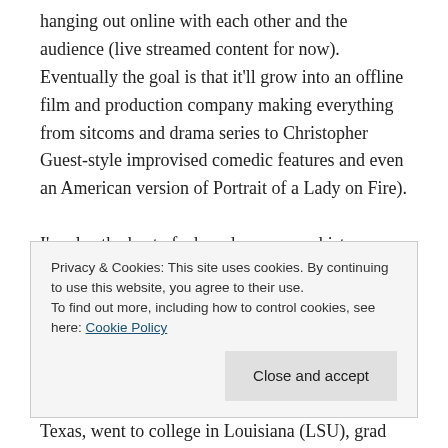hanging out online with each other and the audience (live streamed content for now). Eventually the goal is that it'll grow into an offline film and production company making everything from sitcoms and drama series to Christopher Guest-style improvised comedic features and even an American version of Portrait of a Lady on Fire).
I'm also the host of a brand new queer history series, Gay or Nay. We discuss historical figures who have queer stories associated with them
Privacy & Cookies: This site uses cookies. By continuing to use this website, you agree to their use.
To find out more, including how to control cookies, see here: Cookie Policy
Close and accept
Texas, went to college in Louisiana (LSU), grad